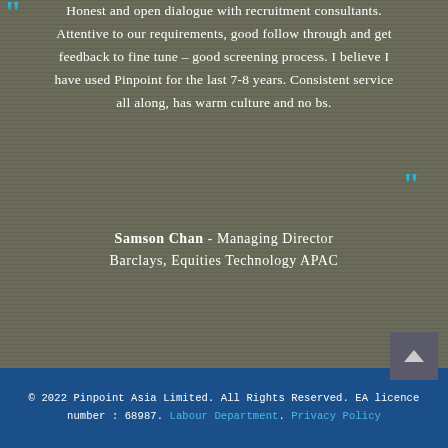Honest and open dialogue with recruitment consultants. Attentive to our requirements, good follow through and get feedback to fine tune – good screening process. I believe I have used Pinpoint for the last 7-8 years. Consistent service all along, has warm culture and no bs.
Samson Chan - Managing Director Barclays, Equities Technology APAC
© 2022 Pinpoint Asia Limited. All Rights Reserved. EA licence number : 68987. Labour Department. Privacy Policy